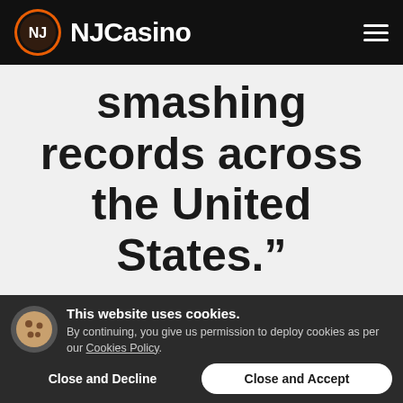NJCasino
smashing records across the United States.”
Its Borgata Online Casino, PartyCasino, and its flagship BetMGM platform are all available
This website uses cookies. By continuing, you give us permission to deploy cookies as per our Cookies Policy.
Close and Decline
Close and Accept